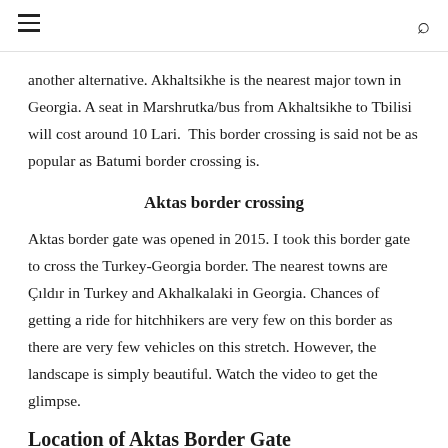another alternative. Akhaltsikhe is the nearest major town in Georgia. A seat in Marshrutka/bus from Akhaltsikhe to Tbilisi will cost around 10 Lari.  This border crossing is said not be as popular as Batumi border crossing is.
Aktas border crossing
Aktas border gate was opened in 2015. I took this border gate to cross the Turkey-Georgia border. The nearest towns are Çıldır in Turkey and Akhalkalaki in Georgia. Chances of getting a ride for hitchhikers are very few on this border as there are very few vehicles on this stretch. However, the landscape is simply beautiful. Watch the video to get the glimpse.
Location of Aktas Border Gate